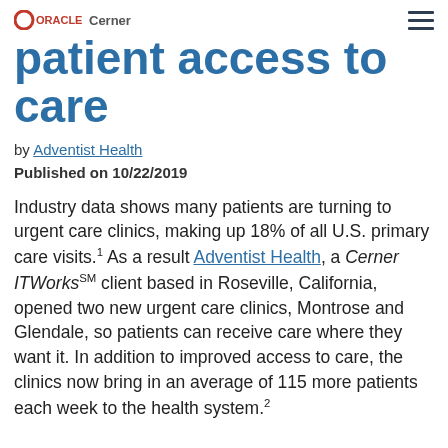Oracle Cerner
patient access to care
by Adventist Health
Published on 10/22/2019
Industry data shows many patients are turning to urgent care clinics, making up 18% of all U.S. primary care visits.1 As a result Adventist Health, a Cerner ITWorksSM client based in Roseville, California, opened two new urgent care clinics, Montrose and Glendale, so patients can receive care where they want it. In addition to improved access to care, the clinics now bring in an average of 115 more patients each week to the health system.2